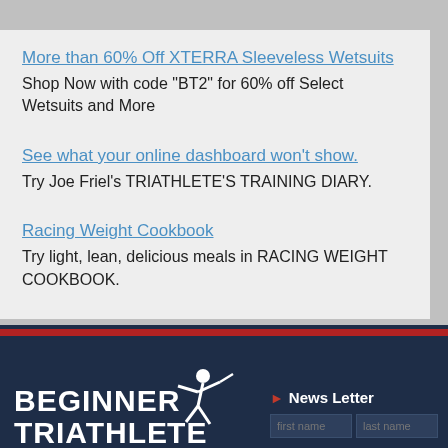More than 60% Off XTERRA Sleeveless Wetsuits
Shop Now with code "BT2" for 60% off Select Wetsuits and More
See what your online dashboard won't show.
Try Joe Friel's TRIATHLETE'S TRAINING DIARY.
Racing Weight Cookbook
Try light, lean, delicious meals in RACING WEIGHT COOKBOOK.
BEGINNER TRIATHLETE | News Letter | first name | last name